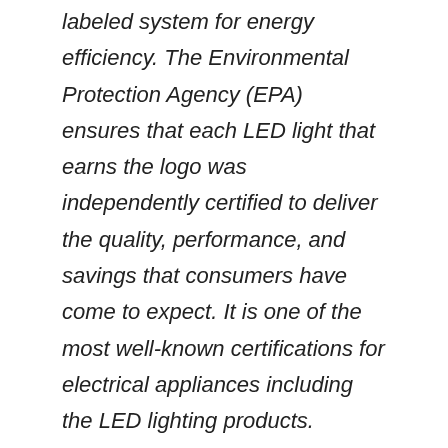labeled system for energy efficiency. The Environmental Protection Agency (EPA) ensures that each LED light that earns the logo was independently certified to deliver the quality, performance, and savings that consumers have come to expect. It is one of the most well-known certifications for electrical appliances including the LED lighting products. ENERGY STAR-certified LED lights use almost a quarter of energy less than conventional lamps, which can save you money in the long run.
DLC (DesignLights Consortium) is a certification issued for commercial LED lights based on their